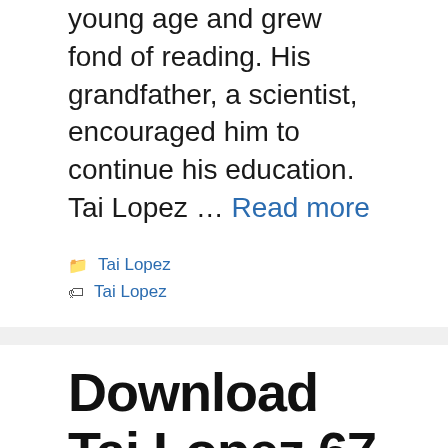young age and grew fond of reading. His grandfather, a scientist, encouraged him to continue his education. Tai Lopez … Read more
Categories: Tai Lopez
Tags: Tai Lopez
Download Tai Lopez 67 Steps
April 6, 2017 by admin
Download Tai Lopez 67 Steps Tai Lopez